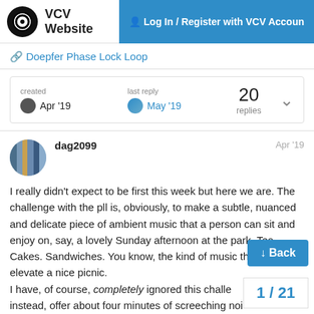VCV Website | Log In / Register with VCV Account
🔗 Doepfer Phase Lock Loop
| created | last reply | 20 replies |  |
| --- | --- | --- | --- |
| Apr '19 | May '19 |  | v |
dag2099 Apr '19
I really didn't expect to be first this week but here we are. The challenge with the pll is, obviously, to make a subtle, nuanced and delicate piece of ambient music that a person can sit and enjoy on, say, a lovely Sunday afternoon at the park. Tea. Cakes. Sandwiches. You know, the kind of music that would elevate a nice picnic.
I have, of course, completely ignored this challenge and, instead, offer about four minutes of screeching noise. Somewhat melodic noise, perhaps, but no ... sort of terrible racket that would get both c
↓ Back
1 / 21